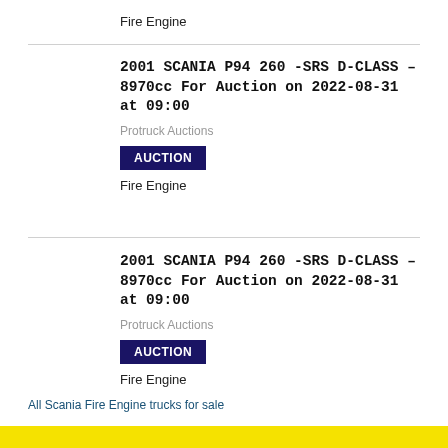Fire Engine
2001 SCANIA P94 260 -SRS D-CLASS – 8970cc For Auction on 2022-08-31 at 09:00
Protruck Auctions
AUCTION
Fire Engine
2001 SCANIA P94 260 -SRS D-CLASS – 8970cc For Auction on 2022-08-31 at 09:00
Protruck Auctions
AUCTION
Fire Engine
All Scania Fire Engine trucks for sale